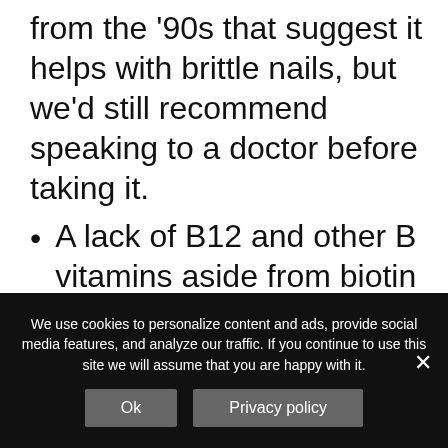from the '90s that suggest it helps with brittle nails, but we'd still recommend speaking to a doctor before taking it.
A lack of B12 and other B vitamins aside from biotin can also lead to weaker nails since they're responsible for iron absorption and the development of red blood cells.
Following from B-vitamins, a lack of
We use cookies to personalize content and ads, provide social media features, and analyze our traffic. If you continue to use this site we will assume that you are happy with it.